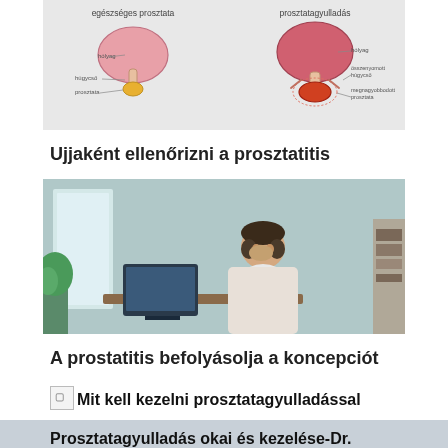[Figure (illustration): Medical illustration comparing normal prostate (egészséges prosztata) with inflamed prostate (prosztatagyulladás), showing anatomical diagrams side by side with labels]
Ujjaként ellenőrizni a prosztatitis
[Figure (photo): Photo of a man in a white shirt sitting at a desk, rubbing his temples with one hand, appearing stressed or in pain, with an office/home background]
A prostatitis befolyásolja a koncepciót
Mit kell kezelni prosztatagyulladással
Prosztatagyulladás okai és kezelése-Dr. Szabó Ferenc
[Figure (photo): Partial image at the bottom, appears to be a landscape or medical image with blue tones and white text]